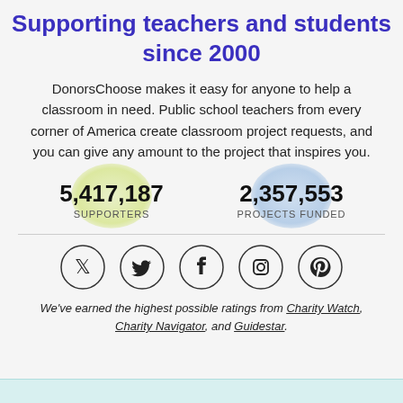Supporting teachers and students since 2000
DonorsChoose makes it easy for anyone to help a classroom in need. Public school teachers from every corner of America create classroom project requests, and you can give any amount to the project that inspires you.
5,417,187 SUPPORTERS
2,357,553 PROJECTS FUNDED
[Figure (infographic): Social media icons: Twitter, Facebook, Instagram, Pinterest — each inside a circle outline]
We've earned the highest possible ratings from Charity Watch, Charity Navigator, and Guidestar.